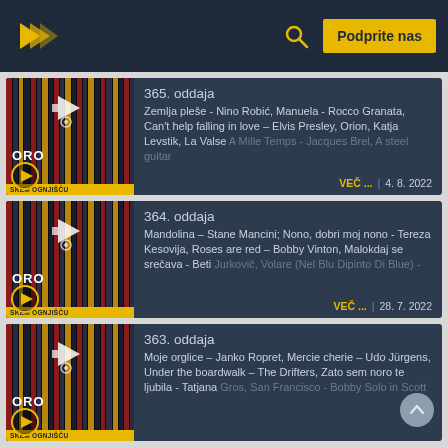Podprite nas
365. oddaja
Zemlja pleše - Nino Robić, Manuela - Rocco Granata, Can't help falling in love – Elvis Presley, Orion, Katja Levstik, La Valse A Mille Temps - Jacques Brel, A steel guitar
VEČ ... | 4. 8. 2022
364. oddaja
Mandolina – Stane Mancini; Nono, dobri moj nono - Tereza Kesovija, Roses are red – Bobby Vinton, Malokdaj se srečava - Beti Jurkovič, Volare (Nel Blu Dipinto Di Blue) -
VEČ ... | 28. 7. 2022
363. oddaja
Moje orglice – Janko Ropret, Mercie cherie – Udo Jürgens, Under the boardwalk – The Drifters, Zato sem noro te ljubila - Tatjana Gros, San Francisco - Bobby Solo in Scott